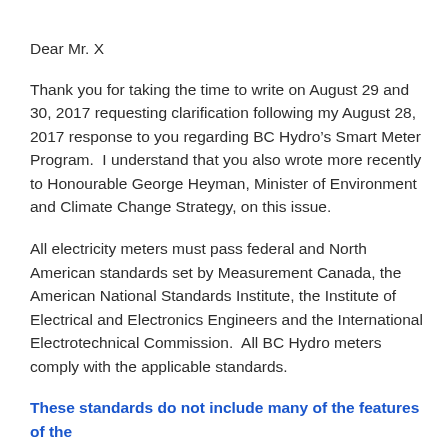Dear Mr. X
Thank you for taking the time to write on August 29 and 30, 2017 requesting clarification following my August 28, 2017 response to you regarding BC Hydro’s Smart Meter Program.  I understand that you also wrote more recently to Honourable George Heyman, Minister of Environment and Climate Change Strategy, on this issue.
All electricity meters must pass federal and North American standards set by Measurement Canada, the American National Standards Institute, the Institute of Electrical and Electronics Engineers and the International Electrotechnical Commission.  All BC Hydro meters comply with the applicable standards.
These standards do not include many of the features of the